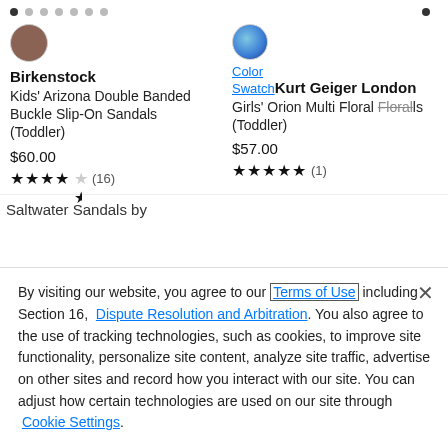navigation dots row
[Figure (screenshot): Product listing: Birkenstock Kids' Arizona Double Banded Buckle Slip-On Sandals (Toddler), $60.00, 4.5 stars (16 reviews), brown swatch circle]
[Figure (screenshot): Product listing: Kurt Geiger London Girls' Orion Multi Floral Floral Sandals (Toddler), $57.00, 5 stars (1 review), globe/color swatch with Color Swatch labels]
Saltwater Sandals by
By visiting our website, you agree to our Terms of Use including Section 16, Dispute Resolution and Arbitration. You also agree to the use of tracking technologies, such as cookies, to improve site functionality, personalize site content, analyze site traffic, advertise on other sites and record how you interact with our site. You can adjust how certain technologies are used on our site through Cookie Settings.